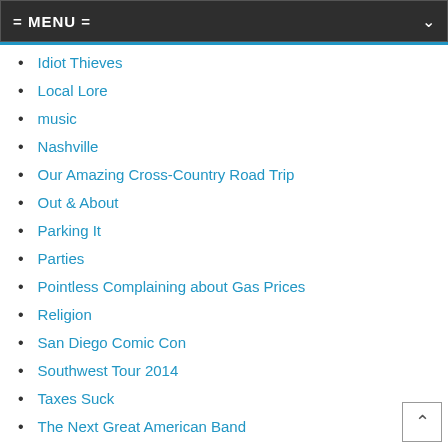= MENU =
Idiot Thieves
Local Lore
music
Nashville
Our Amazing Cross-Country Road Trip
Out & About
Parking It
Parties
Pointless Complaining about Gas Prices
Religion
San Diego Comic Con
Southwest Tour 2014
Taxes Suck
The Next Great American Band
Travelling